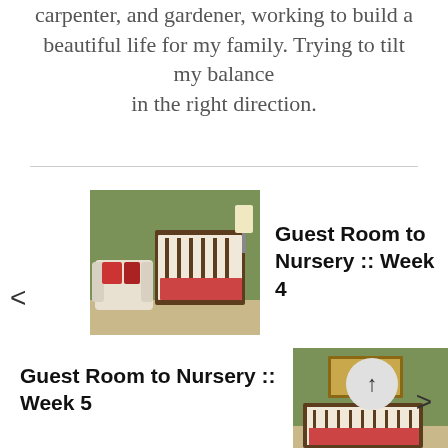carpenter, and gardener, working to build a beautiful life for my family. Trying to tilt my balance in the right direction.
[Figure (photo): Photo of a nursery room with a dark wood crib, white armchair, colorful pillows, and green walls]
Guest Room to Nursery :: Week 4
Guest Room to Nursery :: Week 5
[Figure (photo): Photo of a nursery room with green walls, a sailboat painting, and a dark wood crib with colorful bedding]